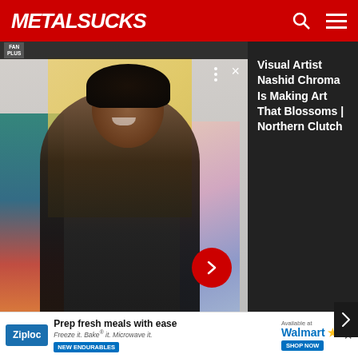METALSUCKS
[Figure (photo): Screenshot of MetalSucks website showing a video thumbnail of a smiling man with curly dark hair and beard standing in front of colorful art paintings, with a dark overlay panel on the right showing text 'Visual Artist Nashid Chroma Is Making Art That Blossoms | Northern Clutch']
wheel, but hot damn are they really fucking good at rolling along with it. Abysmal Dawn's forte is writing excellent songs; instead of using their technical skills as a focal point they use them only to better serve each song as a whole. Have you noticed a theme in my reasons for rankin...good songs...e of
[Figure (other): Advertisement for Ziploc brand featuring text 'Prep fresh meals with ease' and 'Freeze it. Bake it. Microwave it.' with NEW ENDURABLES badge, and Available at Walmart branding with Shop Now button]